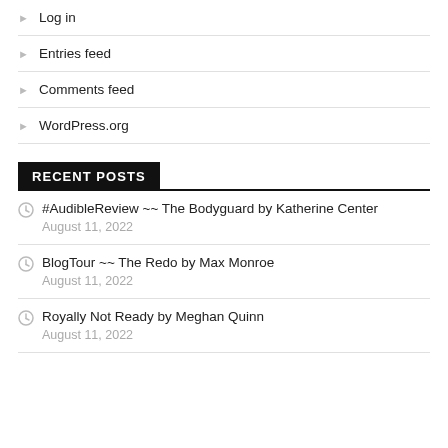Log in
Entries feed
Comments feed
WordPress.org
RECENT POSTS
#AudibleReview ~~ The Bodyguard by Katherine Center
August 11, 2022
BlogTour ~~ The Redo by Max Monroe
August 11, 2022
Royally Not Ready by Meghan Quinn
August 11, 2022